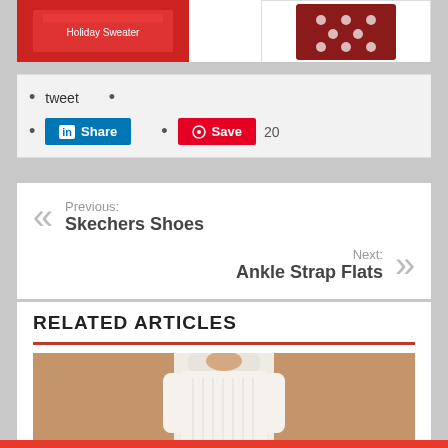[Figure (photo): Red holiday sweater/shirt product image on left]
[Figure (photo): Red holiday sweater with snowflake pattern product image on right]
tweet
•
Share (LinkedIn button)
Save 20 (Pinterest button)
Previous: Skechers Shoes
Next: Ankle Strap Flats
RELATED ARTICLES
[Figure (photo): Woman in white cable-knit long dress on tan/brown background]